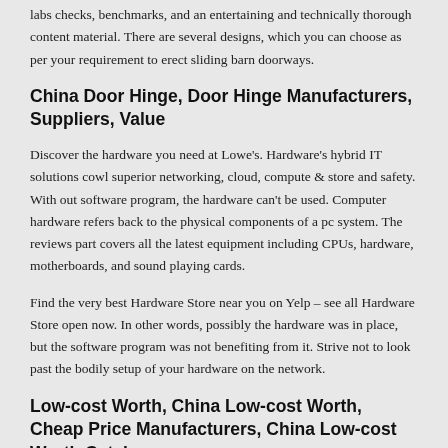labs checks, benchmarks, and an entertaining and technically thorough content material. There are several designs, which you can choose as per your requirement to erect sliding barn doorways.
China Door Hinge, Door Hinge Manufacturers, Suppliers, Value
Discover the hardware you need at Lowe's. Hardware's hybrid IT solutions cowl superior networking, cloud, compute & store and safety. With out software program, the hardware can't be used. Computer hardware refers back to the physical components of a pc system. The reviews part covers all the latest equipment including CPUs, hardware, motherboards, and sound playing cards.
Find the very best Hardware Store near you on Yelp – see all Hardware Store open now. In other words, possibly the hardware was in place, but the software program was not benefiting from it. Strive not to look past the bodily setup of your hardware on the network.
Low-cost Worth, China Low-cost Worth, Cheap Price Manufacturers, China Low-cost Worth Catalog